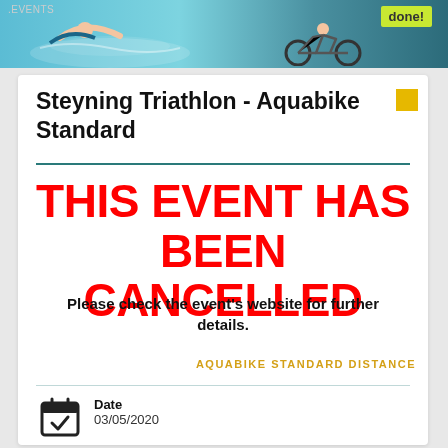[Figure (photo): Website banner showing swimming and cycling triathlon imagery with '.EVENTS' text and a green 'done!' badge]
Steyning Triathlon - Aquabike Standard
THIS EVENT HAS BEEN CANCELLED
Please check the event's website for further details.
AQUABIKE STANDARD DISTANCE
Date
03/05/2020
Location
Steyning Leisure Centre